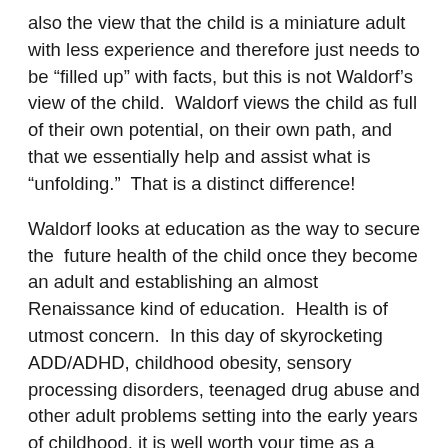also the view that the child is a miniature adult with less experience and therefore just needs to be “filled up” with facts, but this is not Waldorf’s view of the child.  Waldorf views the child as full of their own potential, on their own path, and that we essentially help and assist what is “unfolding.”  That is a distinct difference!
Waldorf looks at education as the way to secure the  future health of the child once they become an adult and establishing an almost Renaissance kind of education.  Health is of utmost concern.  In this day of skyrocketing ADD/ADHD, childhood obesity, sensory processing disorders, teenaged drug abuse and other adult problems setting into the early years of childhood, it is well worth your time as a parent to look into!
To a future healthy society,